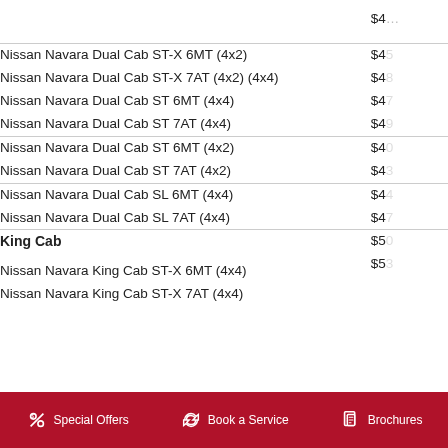| Model | Price |
| --- | --- |
| Nissan Navara Dual Cab ST-X 6MT (4x2) | $45... |
| Nissan Navara Dual Cab ST-X 7AT (4x2) (4x4) | $48... |
| Nissan Navara Dual Cab ST 6MT (4x4) | $47... |
| Nissan Navara Dual Cab ST 7AT (4x4) | $49... |
| Nissan Navara Dual Cab ST 6MT (4x2) | $40... |
| Nissan Navara Dual Cab ST 7AT (4x2) | $43... |
| Nissan Navara Dual Cab SL 6MT (4x4) | $44... |
| Nissan Navara Dual Cab SL 7AT (4x4) | $47... |
| King Cab | $50... |
| Nissan Navara King Cab ST-X 6MT (4x4) | $53... |
| Nissan Navara King Cab ST-X 7AT (4x4) |  |
Special Offers  Book a Service  Brochures